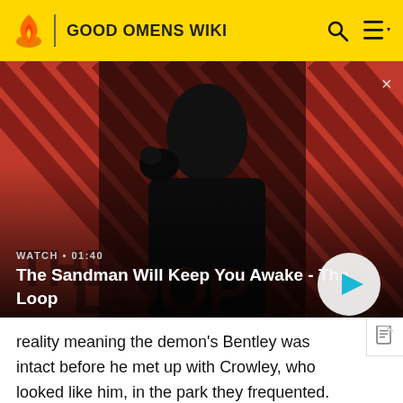GOOD OMENS WIKI
[Figure (screenshot): Video thumbnail showing a dark figure in a black coat with a raven on their shoulder, against a red diagonal striped background. Overlay text: WATCH • 01:40 / The Sandman Will Keep You Awake - The Loop. White play button circle on the right.]
reality meaning the demon's Bentley was intact before he met up with Crowley, who looked like him, in the park they frequented. Aziraphale discovered that his bookshop was also restored and bought the pair ice creams before the angels abducted Crowley - whom they thought was